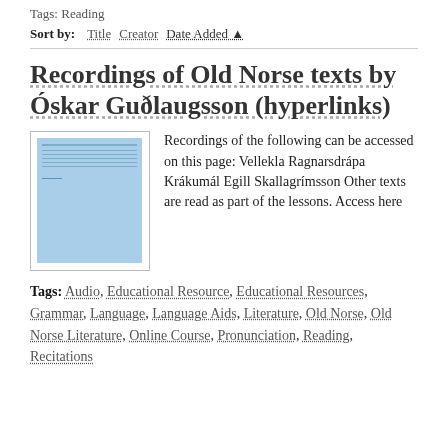Tags: Reading
Sort by: Title Creator Date Added ▲
Recordings of Old Norse texts by Óskar Guðlaugsson (hyperlinks)
[Figure (illustration): Thumbnail image with blue background showing horizontal lines, representing a document or audio recording resource]
Recordings of the following can be accessed on this page: Vellekla Ragnarsdrápa Krákumál Egill Skallagrímsson Other texts are read as part of the lessons. Access here
Tags: Audio, Educational Resource, Educational Resources, Grammar, Language, Language Aids, Literature, Old Norse, Old Norse Literature, Online Course, Pronunciation, Reading, Recitations